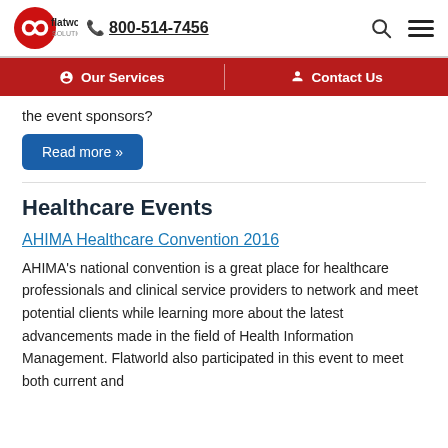flatworld solutions | 800-514-7456
Our Services | Contact Us
the event sponsors?
Read more »
Healthcare Events
AHIMA Healthcare Convention 2016
AHIMA's national convention is a great place for healthcare professionals and clinical service providers to network and meet potential clients while learning more about the latest advancements made in the field of Health Information Management. Flatworld also participated in this event to meet both current and